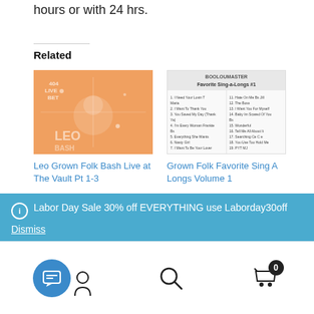hours or with 24 hrs.
Related
[Figure (photo): Leo Grown Folk Bash Live at The Vault Pt 1-3 album cover - orange background with illustrated character and text]
Leo Grown Folk Bash Live at The Vault Pt 1-3
[Figure (photo): Grown Folk Favorite Sing A Longs Volume 1 - tracklist image with BOO LOUMASTER header]
Grown Folk Favorite Sing A Longs Volume 1
[Figure (photo): BOOLOU MASTER House UP #8 album cover partial]
Labor Day Sale 30% off EVERYTHING use Laborday30off
Dismiss